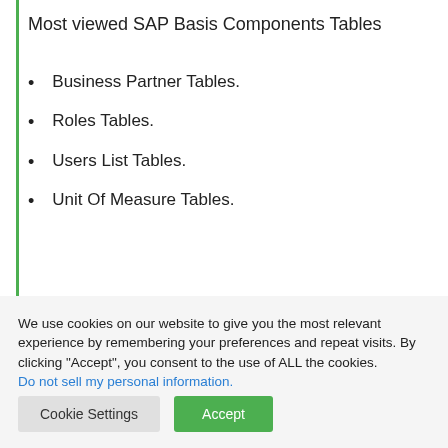Most viewed SAP Basis Components Tables
Business Partner Tables.
Roles Tables.
Users List Tables.
Unit Of Measure Tables.
We use cookies on our website to give you the most relevant experience by remembering your preferences and repeat visits. By clicking “Accept”, you consent to the use of ALL the cookies.
Do not sell my personal information.